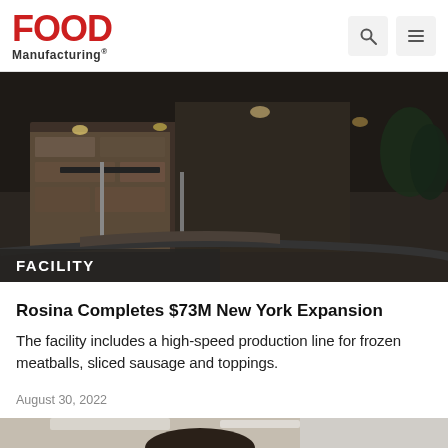FOOD Manufacturing
[Figure (photo): Exterior nighttime photo of a facility building with stone facade, parking area, and driveway]
Rosina Completes $73M New York Expansion
The facility includes a high-speed production line for frozen meatballs, sliced sausage and toppings.
August 30, 2022
[Figure (photo): Portrait photo of a smiling Asian man in a suit holding something, in an indoor setting]